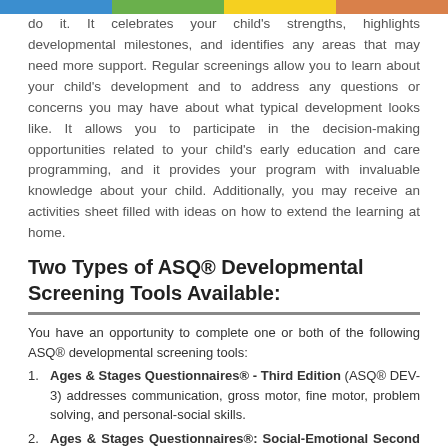do it. It celebrates your child's strengths, highlights developmental milestones, and identifies any areas that may need more support. Regular screenings allow you to learn about your child's development and to address any questions or concerns you may have about what typical development looks like. It allows you to participate in the decision-making opportunities related to your child's early education and care programming, and it provides your program with invaluable knowledge about your child. Additionally, you may receive an activities sheet filled with ideas on how to extend the learning at home.
Two Types of ASQ® Developmental Screening Tools Available:
You have an opportunity to complete one or both of the following ASQ® developmental screening tools:
Ages & Stages Questionnaires® - Third Edition (ASQ® DEV-3) addresses communication, gross motor, fine motor, problem solving, and personal-social skills.
Ages & Stages Questionnaires®: Social-Emotional Second Edition (ASQ®:SE 2):